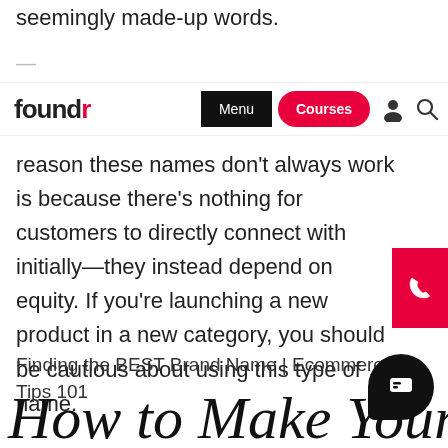seemingly made-up words.
...
foundr | Menu | Courses
reason these names don't always work is because there's nothing for customers to directly connect with initially—they instead depend on equity. If you're launching a new product in a new category, you should be cautious about using this type of name.
Finding the BEST Brand Name | Ecommerce Tips 101
How to Make Your